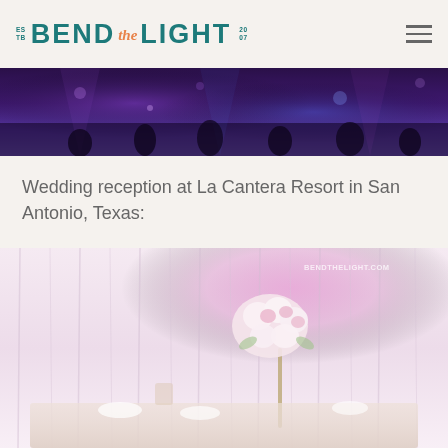BEND the LIGHT
[Figure (photo): Dark photo of a wedding reception or event with purple/blue stage lighting and silhouettes of people]
Wedding reception at La Cantera Resort in San Antonio, Texas:
[Figure (photo): Wedding reception photo showing elegant white drapery backdrop with pink uplighting, a tall floral centerpiece with white and pink flowers, and table settings at La Cantera Resort in San Antonio, Texas. Watermark reads BENDTHELIGHT.COM]